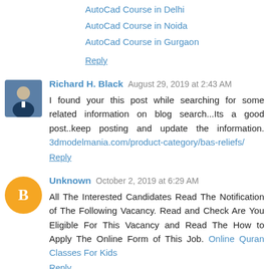AutoCad Course in Delhi
AutoCad Course in Noida
AutoCad Course in Gurgaon
Reply
Richard H. Black  August 29, 2019 at 2:43 AM
I found your this post while searching for some related information on blog search...Its a good post..keep posting and update the information. 3dmodelmania.com/product-category/bas-reliefs/
Reply
Unknown  October 2, 2019 at 6:29 AM
All The Interested Candidates Read The Notification of The Following Vacancy. Read and Check Are You Eligible For This Vacancy and Read The How to Apply The Online Form of This Job. Online Quran Classes For Kids
Reply